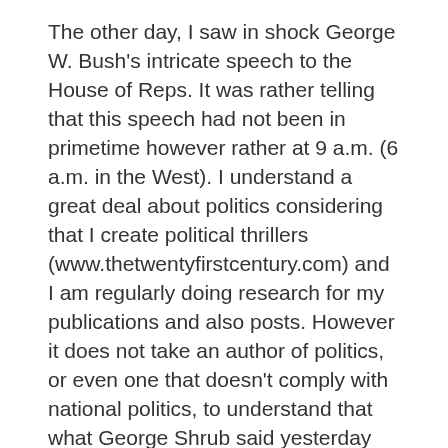The other day, I saw in shock George W. Bush's intricate speech to the House of Reps. It was rather telling that this speech had not been in primetime however rather at 9 a.m. (6 a.m. in the West). I understand a great deal about politics considering that I create political thrillers (www.thetwentyfirstcentury.com) and I am regularly doing research for my publications and also posts. However it does not take an author of politics, or even one that doesn't comply with national politics, to understand that what George Shrub said yesterday made absolutely no feeling. With all the (significant) troubles he and the Republican celebration are in, it is no surprise he has actually all of a sudden picked to speak (or deceive) the American people concerning America's business economics: November is coming.
Fundamentally, Shrub said that the state of our economic climate is in good shape and also is obtaining